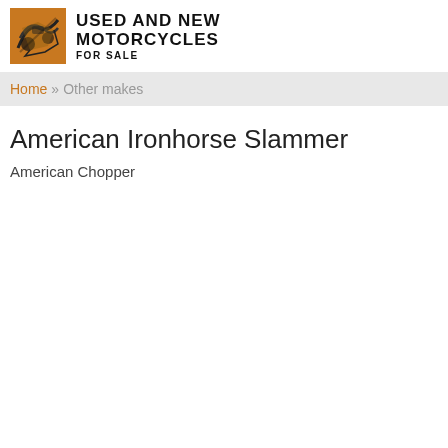[Figure (logo): Orange and black motorcycle logo image with abstract design]
USED AND NEW MOTORCYCLES FOR SALE
Home » Other makes
American Ironhorse Slammer
American Chopper